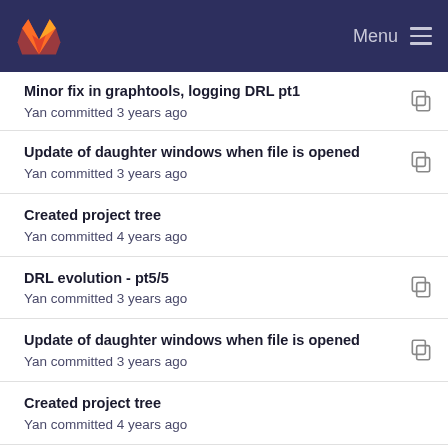GitLab — Menu
Minor fix in graphtools, logging DRL pt1
Yan committed 3 years ago
Update of daughter windows when file is opened
Yan committed 3 years ago
Created project tree
Yan committed 4 years ago
DRL evolution - pt5/5
Yan committed 3 years ago
Update of daughter windows when file is opened
Yan committed 3 years ago
Created project tree
Yan committed 4 years ago
PEP8, renamed objects for higher clarity
Yan committed 3 years ago
Improved stability, changed plot layout
Yan committed 3 years ago